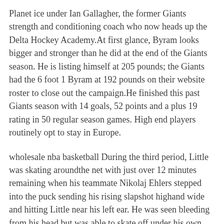Planet ice under Ian Gallagher, the former Giants strength and conditioning coach who now heads up the Delta Hockey Academy.At first glance, Byram looks bigger and stronger than he did at the end of the Giants season. He is listing himself at 205 pounds; the Giants had the 6 foot 1 Byram at 192 pounds on their website roster to close out the campaign.He finished this past Giants season with 14 goals, 52 points and a plus 19 rating in 50 regular season games. High end players routinely opt to stay in Europe.
wholesale nba basketball During the third period, Little was skating aroundthe net with just over 12 minutes remaining when his teammate Nikolaj Ehlers stepped into the puck sending his rising slapshot highand wide and hitting Little near his left ear. He was seen bleeding from his head but was able to skate off under his own power. Winnipeg stated that he was transported to the hospital after the game and «received 25 30 stitches to